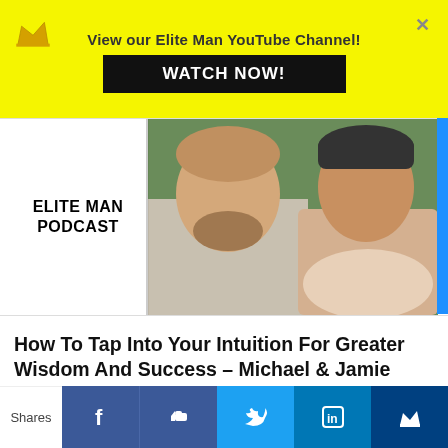View our Elite Man YouTube Channel! WATCH NOW!
[Figure (photo): Elite Man Podcast cover image with two people — a bearded man in a grey shirt and a woman with short dark hair wearing a scarf — posed outdoors; text reads ELITE MAN PODCAST]
How To Tap Into Your Intuition For Greater Wisdom And Success – Michael & Jamie Thornhill (Ep. 365)
[Figure (photo): Partial view of a person's head at the bottom of the page]
Shares | Facebook | Like | Twitter | LinkedIn | Crown